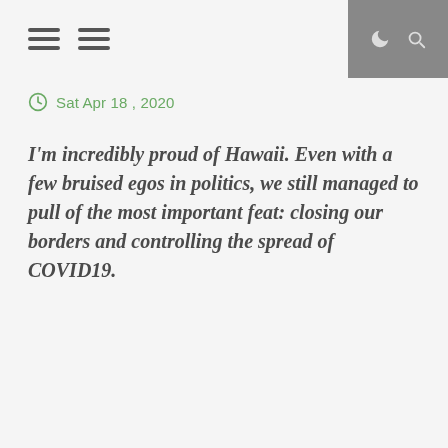Sat Apr 18 , 2020
I'm incredibly proud of Hawaii. Even with a few bruised egos in politics, we still managed to pull of the most important feat: closing our borders and controlling the spread of COVID19.